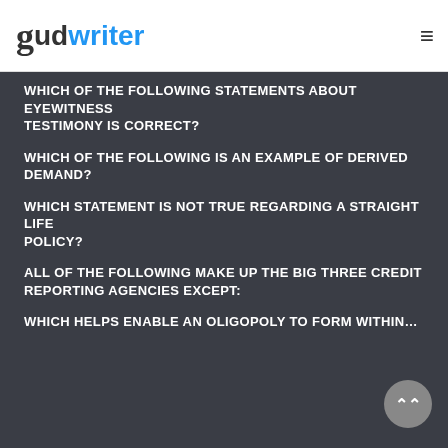gudwriter
WHICH OF THE FOLLOWING STATEMENTS ABOUT EYEWITNESS TESTIMONY IS CORRECT?
WHICH OF THE FOLLOWING IS AN EXAMPLE OF DERIVED DEMAND?
WHICH STATEMENT IS NOT TRUE REGARDING A STRAIGHT LIFE POLICY?
ALL OF THE FOLLOWING MAKE UP THE BIG THREE CREDIT REPORTING AGENCIES EXCEPT:
WHICH HELPS ENABLE AN OLIGOPOLY TO FORM WITHIN…